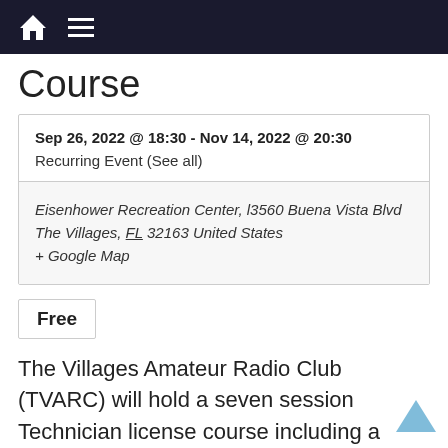Course
Sep 26, 2022 @ 18:30 - Nov 14, 2022 @ 20:30
Recurring Event (See all)
Eisenhower Recreation Center, 13560 Buena Vista Blvd
The Villages, FL 32163 United States
+ Google Map
Free
The Villages Amateur Radio Club (TVARC) will hold a seven session Technician license course including a licensing test this fall. Classes will be held class on Monday evenings from 6:30 PM to 8:30 PM, September 19th to November 7, 2022 at the Eisenhower Recreation Center, 3560 Buena